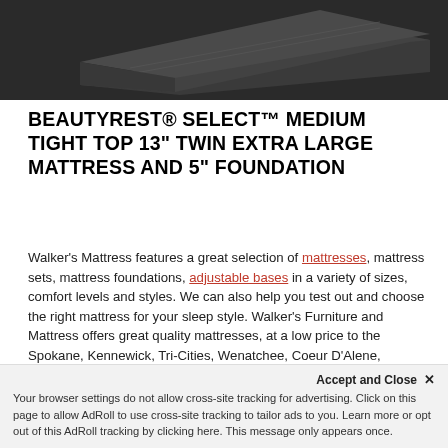[Figure (photo): Dark gray mattress product photo shown from an angle, on a dark background]
BEAUTYREST® SELECT™ MEDIUM TIGHT TOP 13" TWIN EXTRA LARGE MATTRESS AND 5" FOUNDATION
Walker's Mattress features a great selection of mattresses, mattress sets, mattress foundations, adjustable bases in a variety of sizes, comfort levels and styles. We can also help you test out and choose the right mattress for your sleep style. Walker's Furniture and Mattress offers great quality mattresses, at a low price to the Spokane, Kennewick, Tri-Cities, Wenatchee, Coeur D'Alene, Yakima, Walla Walla, Umatilla, Moses Lake area.
Nothing on this page may be copied or reproduced with explicit permission
Accept and Close ✕ Your browser settings do not allow cross-site tracking for advertising. Click on this page to allow AdRoll to use cross-site tracking to tailor ads to you. Learn more or opt out of this AdRoll tracking by clicking here. This message only appears once.